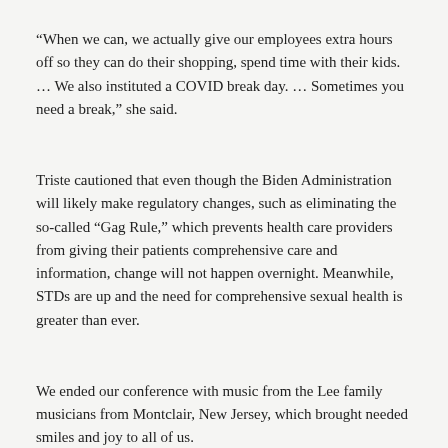“When we can, we actually give our employees extra hours off so they can do their shopping, spend time with their kids. … We also instituted a COVID break day. … Sometimes you need a break,” she said.
Triste cautioned that even though the Biden Administration will likely make regulatory changes, such as eliminating the so-called “Gag Rule,” which prevents health care providers from giving their patients comprehensive care and information, change will not happen overnight. Meanwhile, STDs are up and the need for comprehensive sexual health is greater than ever.
We ended our conference with music from the Lee family musicians from Montclair, New Jersey, which brought needed smiles and joy to all of us.